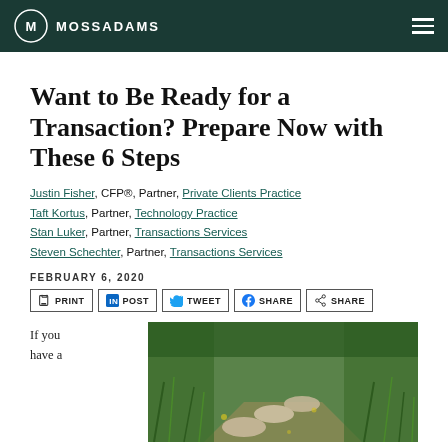MOSS ADAMS
Want to Be Ready for a Transaction? Prepare Now with These 6 Steps
Justin Fisher, CFP®, Partner, Private Clients Practice
Taft Kortus, Partner, Technology Practice
Stan Luker, Partner, Transactions Services
Steven Schechter, Partner, Transactions Services
FEBRUARY 6, 2020
PRINT  POST  TWEET  SHARE  SHARE
If you have a
[Figure (photo): Outdoor garden path with flat stepping stones surrounded by green grass and plants]